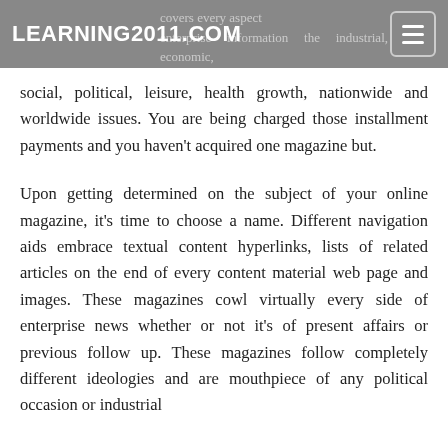LEARNING2011.COM
social, political, leisure, health growth, nationwide and worldwide issues. You are being charged those installment payments and you haven't acquired one magazine but.
Upon getting determined on the subject of your online magazine, it's time to choose a name. Different navigation aids embrace textual content hyperlinks, lists of related articles on the end of every content material web page and images. These magazines cowl virtually every side of enterprise news whether or not it's of present affairs or previous follow up. These magazines follow completely different ideologies and are mouthpiece of any political occasion or industrial